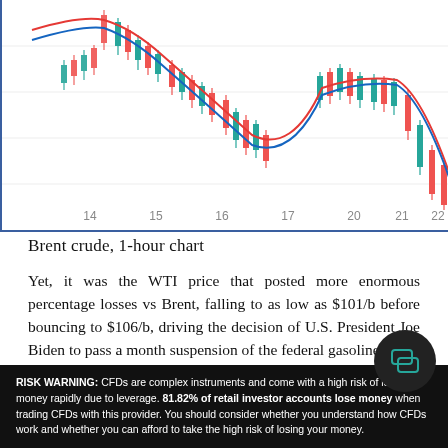[Figure (continuous-plot): Brent crude oil 1-hour candlestick chart showing price action from day 14 to day 22, with red and blue moving average lines overlaid. Price rises near day 15, then declines through days 17-20, recovers partially around day 21, then falls sharply near day 22.]
Brent crude, 1-hour chart
Yet, it was the WTI price that posted more enormous percentage losses vs Brent, falling to as low as $101/b before bouncing to $106/b, driven by the decision of U.S. President Joe Biden to pass a month suspension of the federal gasoline tax to
RISK WARNING: CFDs are complex instruments and come with a high risk of losing money rapidly due to leverage. 81.82% of retail investor accounts lose money when trading CFDs with this provider. You should consider whether you understand how CFDs work and whether you can afford to take the high risk of losing your money.